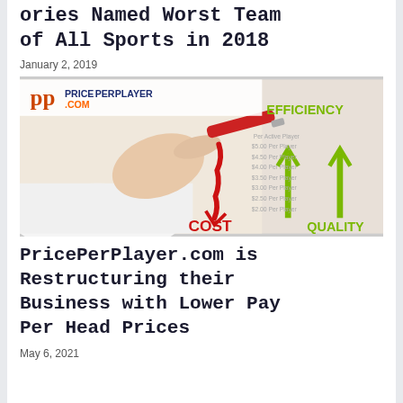…ories Named Worst Team of All Sports in 2018
January 2, 2019
[Figure (photo): PricePerPlayer.com promotional image showing a hand drawing a red downward arrow labeled COST and green upward arrows labeled EFFICIENCY and QUALITY, with pricing tiers listed in the background]
PricePerPlayer.com is Restructuring their Business with Lower Pay Per Head Prices
May 6, 2021